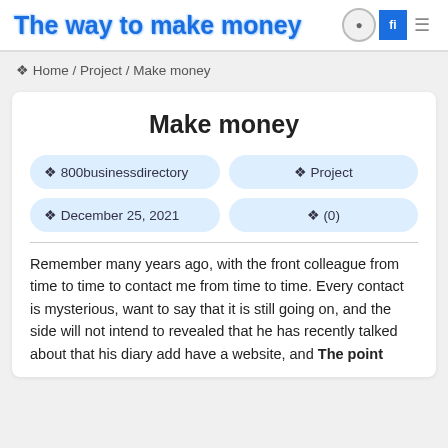The way to make money
❖ Home / Project / Make money
Make money
❖ 800businessdirectory
❖ Project
❖ December 25, 2021
❖ (0)
Remember many years ago, with the front colleague from time to time to contact me from time to time. Every contact is mysterious, want to say that it is still going on, and the side will not intend to revealed that he has recently talked about that his diary add have a website, and The point